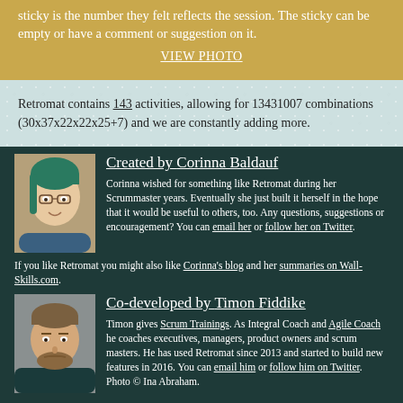sticky is the number they felt reflects the session. The sticky can be empty or have a comment or suggestion on it.
VIEW PHOTO
Retromat contains 143 activities, allowing for 13431007 combinations (30x37x22x22x25+7) and we are constantly adding more.
Created by Corinna Baldauf
[Figure (photo): Photo of Corinna Baldauf, woman with green hair and glasses]
Corinna wished for something like Retromat during her Scrummaster years. Eventually she just built it herself in the hope that it would be useful to others, too. Any questions, suggestions or encouragement? You can email her or follow her on Twitter. If you like Retromat you might also like Corinna's blog and her summaries on Wall-Skills.com.
Co-developed by Timon Fiddike
[Figure (photo): Photo of Timon Fiddike, man with beard]
Timon gives Scrum Trainings. As Integral Coach and Agile Coach he coaches executives, managers, product owners and scrum masters. He has used Retromat since 2013 and started to build new features in 2016. You can email him or follow him on Twitter. Photo © Ina Abraham.